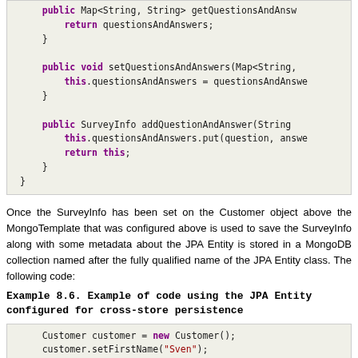[Figure (screenshot): Code block showing Java methods: getQuestionsAndAnswers, setQuestionsAndAnswers, addQuestionAndAnswer]
Once the SurveyInfo has been set on the Customer object above the MongoTemplate that was configured above is used to save the SurveyInfo along with some metadata about the JPA Entity is stored in a MongoDB collection named after the fully qualified name of the JPA Entity class. The following code:
Example 8.6. Example of code using the JPA Entity configured for cross-store persistence
[Figure (screenshot): Code block showing: Customer customer = new Customer(); customer.setFirstName("Sven");]